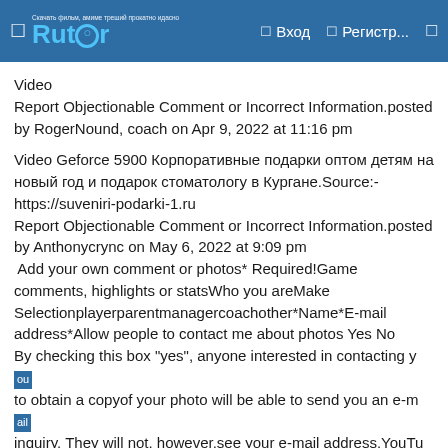Rutor — Вход — Регистр...
Video
Report Objectionable Comment or Incorrect Information.posted by RogerNound, coach on Apr 9, 2022 at 11:16 pm
Video Geforce 5900 Корпоративные подарки оптом детям на новый год и подарок стоматологу в Кургане.Source:- https://suveniri-podarki-1.ru
Report Objectionable Comment or Incorrect Information.posted by Anthonycrync on May 6, 2022 at 9:09 pm
 Add your own comment or photos* Required!Game comments, highlights or statsWho you areMake Selectionplayerparentmanagercoachother*Name*E-mail address*Allow people to contact me about photos Yes No
By checking this box "yes", anyone interested in contacting you to obtain a copyof your photo will be able to send you an e-mail inquiry. They will not, however,see your e-mail address.YouTube Video Link
Video HelpUsing to add video...